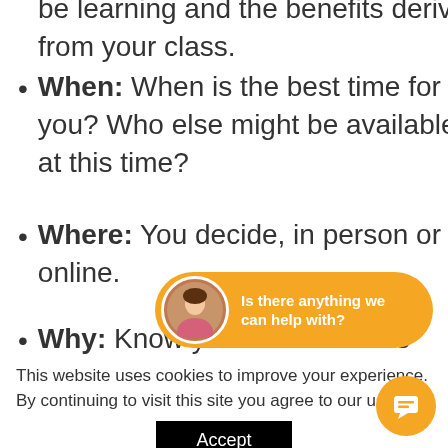be learning and the benefits derived from your class.
When: When is the best time for you? Who else might be available at this time?
Where: You decide, in person or online.
Why: Know your heart for this
(partially obscured)
[Figure (other): Orange chat widget overlay with avatar photo and text 'Is there anything we can help with?']
This website uses cookies to improve your experience. By continuing to visit this site you agree to our use of c
Accept